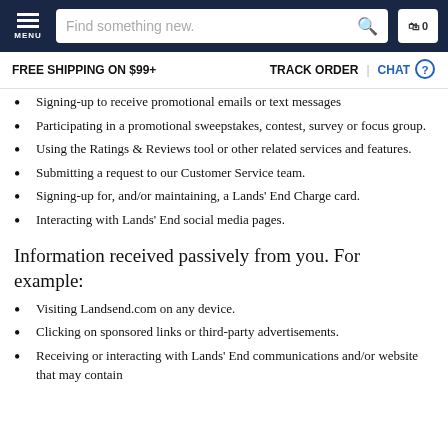MENU | Find something new. | 0
FREE SHIPPING ON $99+ | TRACK ORDER | CHAT
Signing-up to receive promotional emails or text messages
Participating in a promotional sweepstakes, contest, survey or focus group.
Using the Ratings & Reviews tool or other related services and features.
Submitting a request to our Customer Service team.
Signing-up for, and/or maintaining, a Lands' End Charge card.
Interacting with Lands' End social media pages.
Information received passively from you. For example:
Visiting Landsend.com on any device.
Clicking on sponsored links or third-party advertisements.
Receiving or interacting with Lands' End communications and/or website that may contain